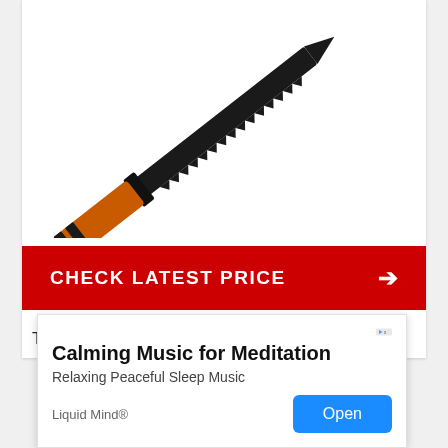[Figure (photo): A machete with a black serrated blade and orange/black wrapped handle with orange paracord lanyard, displayed diagonally on white background]
CHECK LATEST PRICE →
The Ust ParaCuda FS Machete is a great
[Figure (infographic): Advertisement overlay: Calming Music for Meditation - Relaxing Peaceful Sleep Music - Liquid Mind® - Open button]